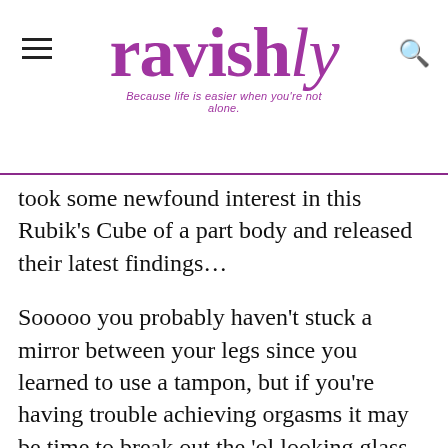ravishly — Because life is easier when you're not alone.
took some newfound interest in this Rubik's Cube of a part body and released their latest findings…
Sooooo you probably haven't stuck a mirror between your legs since you learned to use a tampon, but if you're having trouble achieving orgasms it may be time to break out the 'ol looking glass … and ruler. Apparently, there's a correlation between the distance of the clit and vag. and difficultly to orgasm: women who have trouble reaching the big O had about 5 to 6 millimeters (ya know, one of those teeny spaces